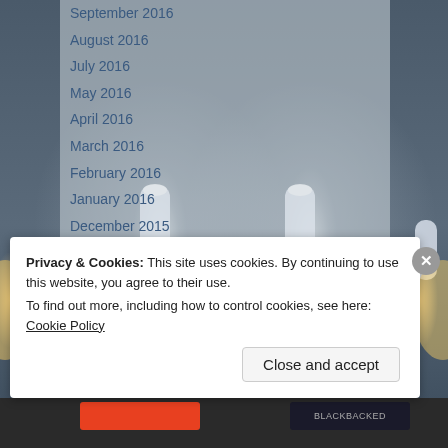[Figure (screenshot): Dark background with ceiling spotlight lighting effects showing glowing cylindrical light fixtures against a dark ceiling]
September 2016
August 2016
July 2016
May 2016
April 2016
March 2016
February 2016
January 2016
December 2015
November 2015
October 2015
September 2015
Privacy & Cookies: This site uses cookies. By continuing to use this website, you agree to their use.
To find out more, including how to control cookies, see here: Cookie Policy
Close and accept